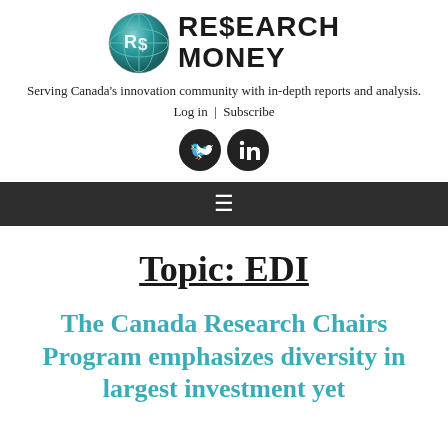[Figure (logo): Research Money logo with teal globe icon and bold text 'RE$EARCH MONEY']
Serving Canada's innovation community with in-depth reports and analysis.
Log in | Subscribe
[Figure (other): Twitter and LinkedIn social media icons (dark circular buttons)]
Navigation hamburger menu bar
Topic: EDI
The Canada Research Chairs Program emphasizes diversity in largest investment yet